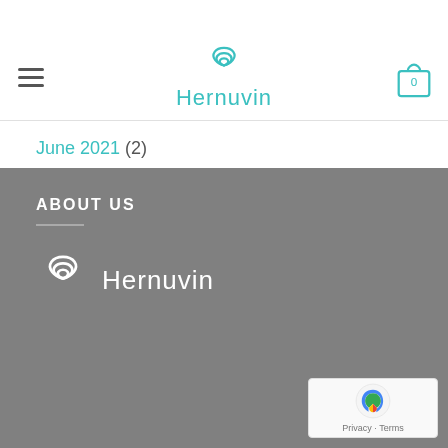Hernuvin — navigation header with logo and cart
August 2021 (4)
July 2021 (5)
June 2021 (2)
May 2021 (3)
April 2021 (2)
March 2021 (2)
ABOUT US
[Figure (logo): Hernuvin logo in white on dark grey footer background]